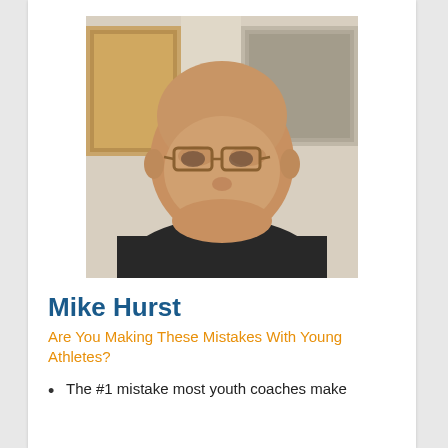[Figure (photo): Headshot of a bald middle-aged man with glasses wearing a dark shirt, seated in front of framed pictures on a wall.]
Mike Hurst
Are You Making These Mistakes With Young Athletes?
The #1 mistake most youth coaches make